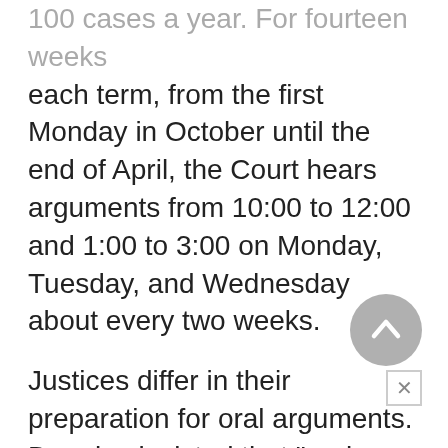100 cases a year. For fourteen weeks each term, from the first Monday in October until the end of April, the Court hears arguments from 10:00 to 12:00 and 1:00 to 3:00 on Monday, Tuesday, and Wednesday about every two weeks.
Justices differ in their preparation for oral arguments. Douglas insisted that "oral arguments win or lose a case," but Chief Justice Earl Warren claimed that they were "not highly persuasive." Most Justices come prepared with